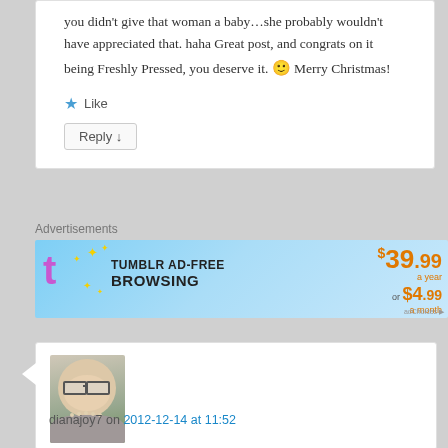you didn't give that woman a baby…she probably wouldn't have appreciated that. haha Great post, and congrats on it being Freshly Pressed, you deserve it. 🙂 Merry Christmas!
Like
Reply ↓
Advertisements
[Figure (screenshot): Tumblr AD-FREE BROWSING advertisement banner. $39.99 a year or $4.99 a month.]
[Figure (photo): Avatar photo of user dianajoy7 - woman with glasses smiling]
dianajoy7 on 2012-12-14 at 11:52